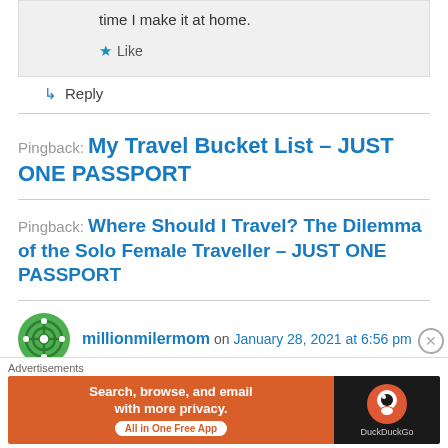time I make it at home.
Like
Reply
Pingback: My Travel Bucket List – JUST ONE PASSPORT
Pingback: Where Should I Travel? The Dilemma of the Solo Female Traveller – JUST ONE PASSPORT
millionmilermom on January 28, 2021 at 6:56 pm
[Figure (infographic): DuckDuckGo advertisement banner: orange background with text 'Search, browse, and email with more privacy. All in One Free App' alongside DuckDuckGo logo on dark background]